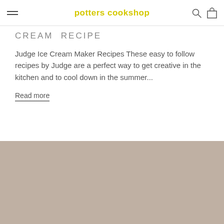potters cookshop
CREAM RECIPE
Judge Ice Cream Maker Recipes These easy to follow recipes by Judge are a perfect way to get creative in the kitchen and to cool down in the summer...
Read more
[Figure (photo): Placeholder image with beige/taupe background color]